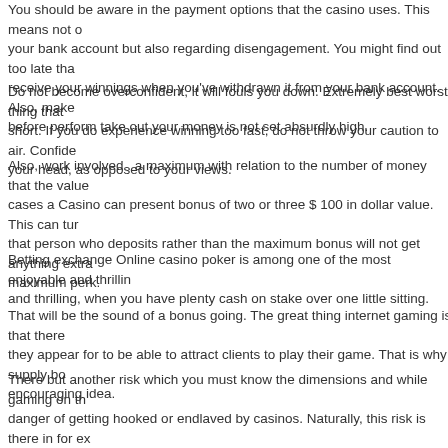You should be aware in the payment options that the casino uses. This means not only your bank account but also regarding disengagement. You might find out too late that receive your winnings when you've withdrawn it from your bank account. Also, make before perform take out your money is not set absurdly high.
Do not become overconfident, it will fouls you down. Extremely best worst thing that can short. If you do experience winning too fast, do not throw your caution to air. Confidence your head, as opposed to your views.
Also, work involved . a maximum with relation to the number of money that the value cases a Casino can present bonus of two or three $ 100 in dollar value. This can turn that person who deposits rather than the maximum bonus will not get anything extra maximum perk.
Betting exchange Online casino poker is among one of the most enjoyable and thrilling and thrilling, when you have plenty cash on stake over one little sitting.
That will be the sound of a bonus going. The great thing internet gaming is that there they appear for to be able to attract clients to play their game. That is why supply bonus encouraging idea.
There but another risk which you must know the dimensions and while gaming on the danger of getting hooked or endlaved by casinos. Naturally, this risk is there in for ex offline. Don't view gambling as a method to get some extra money. It's only a kind of usually is good. However, you should view that when your bonus, significantly less th